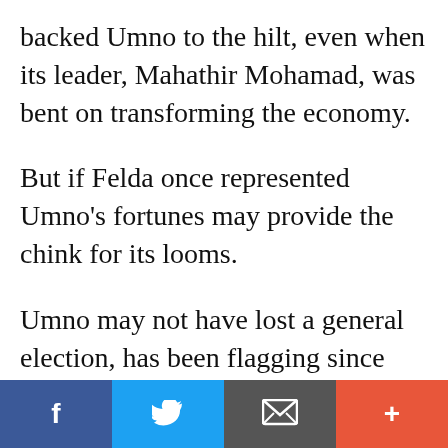backed Umno to the hilt, even when its leader, Mahathir Mohamad, was bent on transforming the economy.
But if Felda once represented Umno's strength, its fortunes may provide the chink for its armour as an election looms.
Umno may not have lost a general election, but support has been flagging since 2008, if not before. Now it faces the sort of crisis once faced by …
[Figure (infographic): Social sharing bar with four buttons: Facebook (blue), Twitter (light blue), Email/envelope (dark grey), and More/plus (orange-red)]